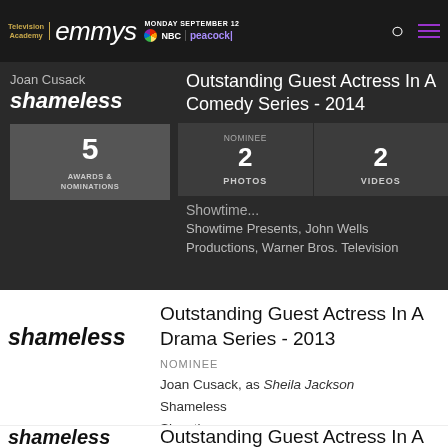Television Academy | emmys | MONDAY SEPTEMBER 12 | NBC | peacock
Joan Cusack
shameless
5
AWARDS & NOMINATIONS
Outstanding Guest Actress In A Comedy Series - 2014
NOMINEE 2 PHOTOS | 2 VIDEOS
Showtime...
Showtime Presents, John Wells Productions, Warner Bros. Television
[Figure (logo): shameless logo in black bold italic text on white background]
Outstanding Guest Actress In A Drama Series - 2013
NOMINEE
Joan Cusack, as Sheila Jackson
Shameless
Showtime
Showtime Presents, John Wells Productions, Warner Bros. Television
[Figure (logo): shameless logo in black bold italic text on white background (partially visible)]
Outstanding Guest Actress In A Drama Series - 2012